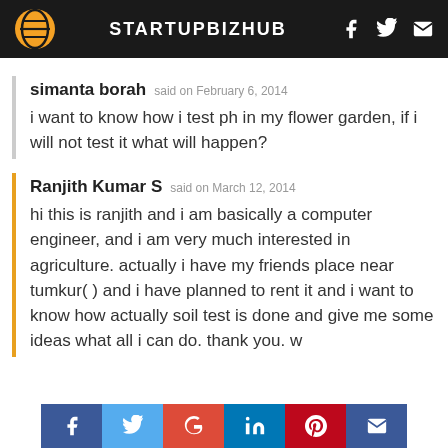STARTUPBIZHUB
simanta borah said on February 6, 2014
i want to know how i test ph in my flower garden, if i will not test it what will happen?
Ranjith Kumar S said on March 12, 2014
hi this is ranjith and i am basically a computer engineer, and i am very much interested in agriculture. actually i have my friends place near tumkur( ) and i have planned to rent it and i want to know how actually soil test is done and give me some ideas what all i can do. thank you. w